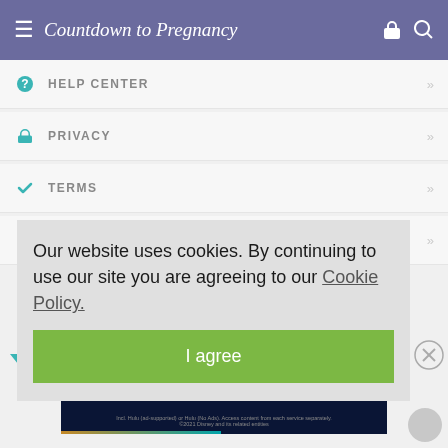Countdown to Pregnancy
HELP CENTER
PRIVACY
TERMS
CONTACT
Our website uses cookies. By continuing to use our site you are agreeing to our Cookie Policy.
I agree
[Figure (screenshot): Disney Bundle advertisement banner showing Hulu, Disney+, ESPN+ logos with 'GET THE DISNEY BUNDLE' call to action]